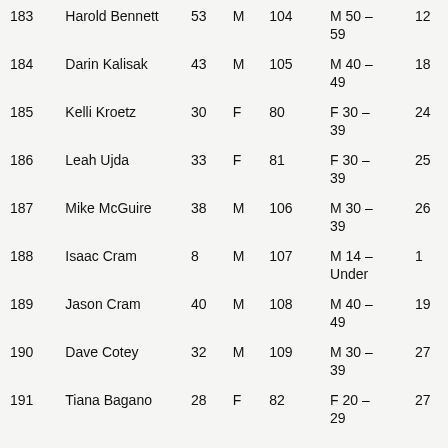| # | Name | Age | Sex | Bib | Category | Rank |
| --- | --- | --- | --- | --- | --- | --- |
| 183 | Harold Bennett | 53 | M | 104 | M 50 – 59 | 12 |
| 184 | Darin Kalisak | 43 | M | 105 | M 40 – 49 | 18 |
| 185 | Kelli Kroetz | 30 | F | 80 | F 30 – 39 | 24 |
| 186 | Leah Ujda | 33 | F | 81 | F 30 – 39 | 25 |
| 187 | Mike McGuire | 38 | M | 106 | M 30 – 39 | 26 |
| 188 | Isaac Cram | 8 | M | 107 | M 14 – Under | 1 |
| 189 | Jason Cram | 40 | M | 108 | M 40 – 49 | 19 |
| 190 | Dave Cotey | 32 | M | 109 | M 30 – 39 | 27 |
| 191 | Tiana Bagano | 28 | F | 82 | F 20 – 29 | 27 |